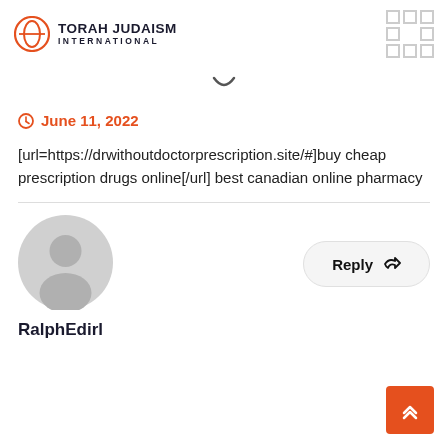TORAH JUDAISM INTERNATIONAL
June 11, 2022
[url=https://drwithoutdoctorprescription.site/#]buy cheap prescription drugs online[/url] best canadian online pharmacy
[Figure (illustration): Default user avatar (grey silhouette)]
Reply
RalphEdirl